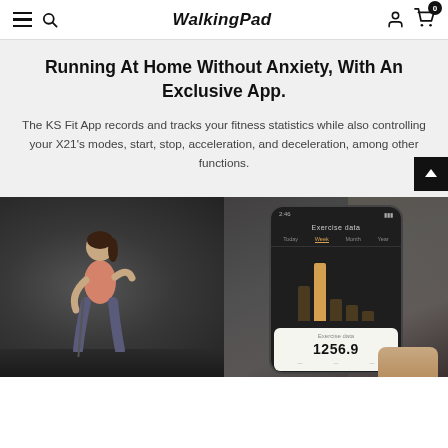WalkingPad
Running At Home Without Anxiety, With An Exclusive App.
The KS Fit App records and tracks your fitness statistics while also controlling your X21's modes, start, stop, acceleration, and deceleration, among other functions.
[Figure (photo): Left: Woman in pink sports top and grey leggings running on a treadmill in a dark room. Right: Hand holding a smartphone displaying the KS Fit App exercise data screen showing 1256.9.]